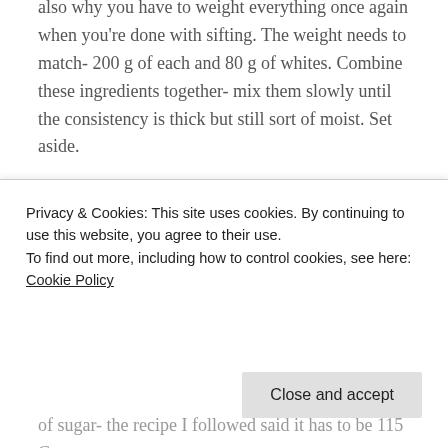also why you have to weight everything once again when you're done with sifting. The weight needs to match- 200 g of each and 80 g of whites. Combine these ingredients together- mix them slowly until the consistency is thick but still sort of moist. Set aside.
Preheat the oven- set the temperature for 110 C- place inside the baking sheet and the silicon mat.
In a pot prepare the water and the sugar- just any purpose sugar. Start boiling the ingredients, stir it all the time. In the meantime- I know it's difficult but it's
Privacy & Cookies: This site uses cookies. By continuing to use this website, you agree to their use.
To find out more, including how to control cookies, see here: Cookie Policy
Close and accept
of sugar- the recipe I followed said it has to be 115 C-